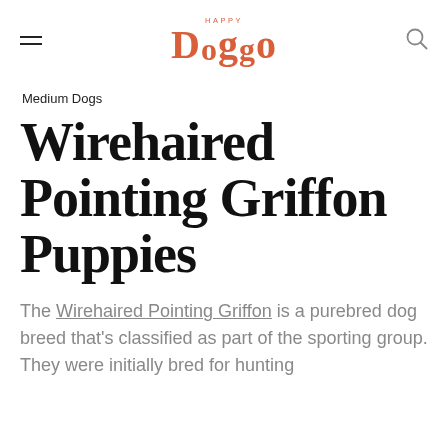Happy Doggo
Medium Dogs
Wirehaired Pointing Griffon Puppies
The Wirehaired Pointing Griffon is a purebred dog breed that's classified as part of the sporting group. They were initially bred for hunting